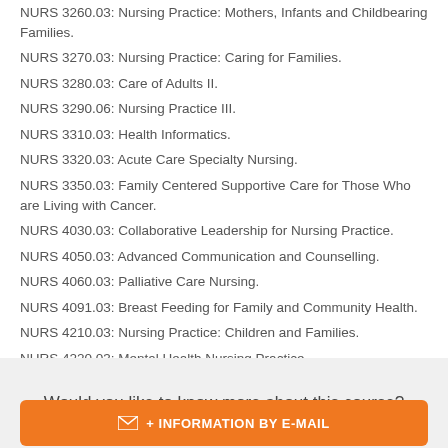NURS 3260.03: Nursing Practice: Mothers, Infants and Childbearing Families.
NURS 3270.03: Nursing Practice: Caring for Families.
NURS 3280.03: Care of Adults II.
NURS 3290.06: Nursing Practice III.
NURS 3310.03: Health Informatics.
NURS 3320.03: Acute Care Specialty Nursing.
NURS 3350.03: Family Centered Supportive Care for Those Who are Living with Cancer.
NURS 4030.03: Collaborative Leadership for Nursing Practice.
NURS 4050.03: Advanced Communication and Counselling.
NURS 4060.03: Palliative Care Nursing.
NURS 4091.03: Breast Feeding for Family and Community Health.
NURS 4210.03: Nursing Practice: Children and Families.
NURS 4220.03: Mental Health Nursing Practice.
Would you like to know more about this course?
+ INFORMATION BY E-MAIL